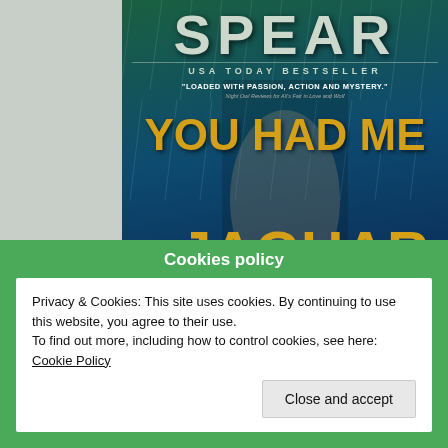[Figure (illustration): Book cover for 'You Had Me at Jaguar' by Spear, a USA Today Bestseller. Dark teal/green background with gold title text. Subtitle quote: 'Loaded with passion, action and mystery.']
I was so busy with taking care of baby yesterday and having her dad for dinner and working on Wolff brother's story, that I totally forgot that
Cookies policy
Privacy & Cookies: This site uses cookies. By continuing to use this website, you agree to their use.
To find out more, including how to control cookies, see here: Cookie Policy
Close and accept